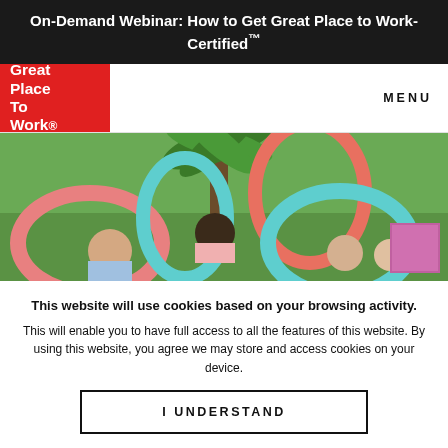On-Demand Webinar: How to Get Great Place to Work-Certified™
[Figure (logo): Great Place To Work red logo box with white text]
[Figure (photo): People playing outdoor games with colorful pool noodles/hoops on grass]
This website will use cookies based on your browsing activity.
This will enable you to have full access to all the features of this website. By using this website, you agree we may store and access cookies on your device.
I UNDERSTAND